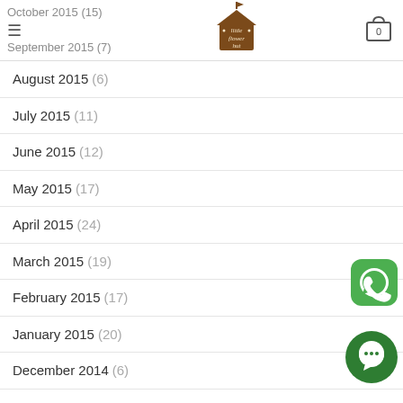October 2015 (15) | September 2015 (7) — little flower hut — cart: 0
August 2015 (6)
July 2015 (11)
June 2015 (12)
May 2015 (17)
April 2015 (24)
March 2015 (19)
February 2015 (17)
January 2015 (20)
December 2014 (6)
[Figure (logo): WhatsApp green icon button]
[Figure (logo): Green chat/message circle button]